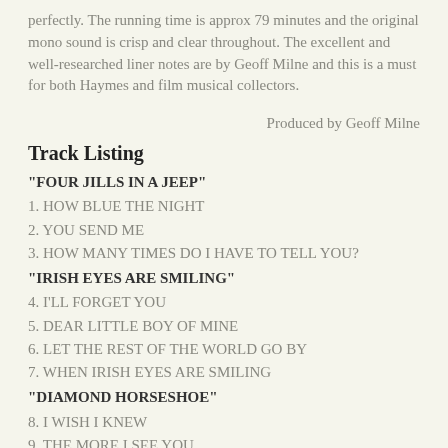perfectly. The running time is approx 79 minutes and the original mono sound is crisp and clear throughout. The excellent and well-researched liner notes are by Geoff Milne and this is a must for both Haymes and film musical collectors.
Produced by Geoff Milne
Track Listing
"FOUR JILLS IN A JEEP"
1. HOW BLUE THE NIGHT
2. YOU SEND ME
3. HOW MANY TIMES DO I HAVE TO TELL YOU?
"IRISH EYES ARE SMILING"
4. I'LL FORGET YOU
5. DEAR LITTLE BOY OF MINE
6. LET THE REST OF THE WORLD GO BY
7. WHEN IRISH EYES ARE SMILING
"DIAMOND HORSESHOE"
8. I WISH I KNEW
9. THE MORE I SEE YOU
"STATE FAIR"